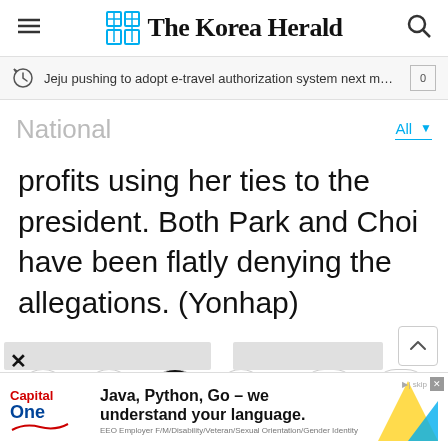The Korea Herald
Jeju pushing to adopt e-travel authorization system next month for fo...
National
profits using her ties to the president. Both Park and Choi have been flatly denying the allegations. (Yonhap)
[Figure (screenshot): Social sharing buttons: Twitter, Facebook, KakaoTalk, Email, and font size controls A- and A+]
[Figure (screenshot): Capital One advertisement: Java, Python, Go – we understand your language.]